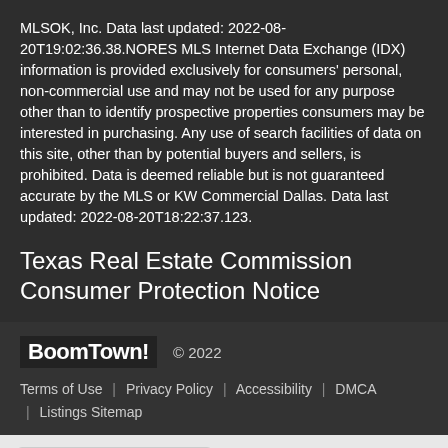MLSOK, Inc. Data last updated: 2022-08-20T19:02:36.38.NORES MLS Internet Data Exchange (IDX) information is provided exclusively for consumers' personal, non-commercial use and may not be used for any purpose other than to identify prospective properties consumers may be interested in purchasing. Any use of search facilities of data on this site, other than by potential buyers and sellers, is prohibited. Data is deemed reliable but is not guaranteed accurate by the MLS or KW Commercial Dallas. Data last updated: 2022-08-20T18:22:37.123.
Texas Real Estate Commission Consumer Protection Notice
BoomTown! © 2022
Terms of Use | Privacy Policy | Accessibility | DMCA | Listings Sitemap
Take a Tour
Ask A Question